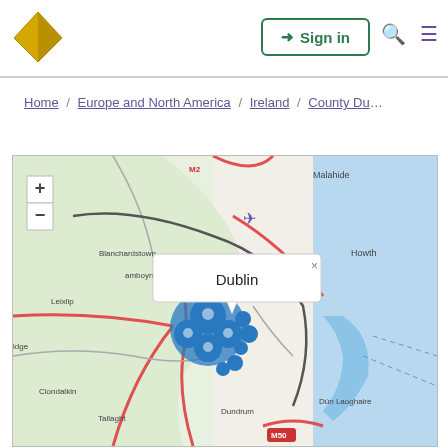[Figure (logo): Yellow/gold diamond/pyramid logo icon]
Sign in
Home / Europe and North America / Ireland / County Du...
[Figure (map): Interactive map showing Dublin, Ireland area with blue clustered markers near Dublin city center. Map labels include Malahide, Howth, Blanchardstown, Leixlip, Clondalkin, Tallaght, Dundrum, Dún Laoghaire, M2, M50. A popup tooltip reads 'Dublin'. Zoom +/- controls visible. Airport icon visible. Map shows roads, coastline and Dublin Bay.]